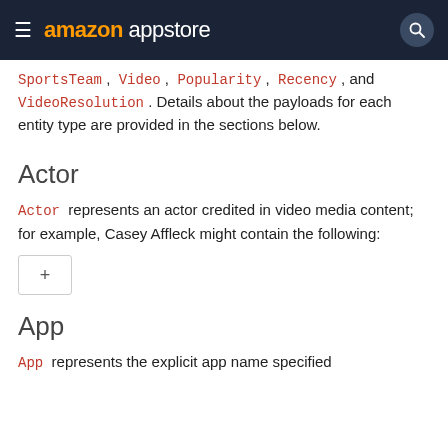amazon appstore
SportsTeam , Video , Popularity , Recency , and VideoResolution . Details about the payloads for each entity type are provided in the sections below.
Actor
Actor represents an actor credited in video media content; for example, Casey Affleck might contain the following:
[Figure (other): Expandable code block toggle button with a plus (+) symbol]
App
App represents the explicit app name specified